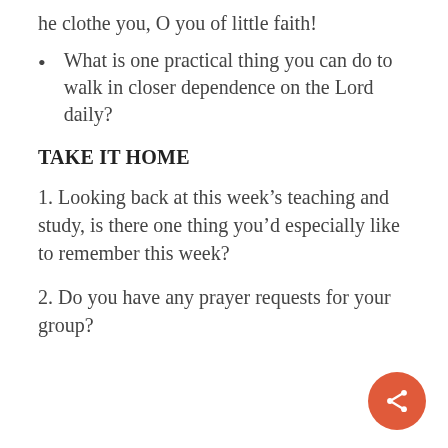he clothe you, O you of little faith!
What is one practical thing you can do to walk in closer dependence on the Lord daily?
TAKE IT HOME
1. Looking back at this week’s teaching and study, is there one thing you’d especially like to remember this week?
2. Do you have any prayer requests for your group?